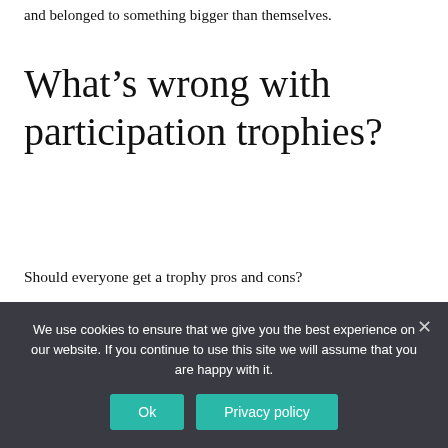and belonged to something bigger than themselves.
What’s wrong with participation trophies?
Should everyone get a trophy pros and cons?
Participation Trophies: The Pros & Cons
We use cookies to ensure that we give you the best experience on our website. If you continue to use this site we will assume that you are happy with it.